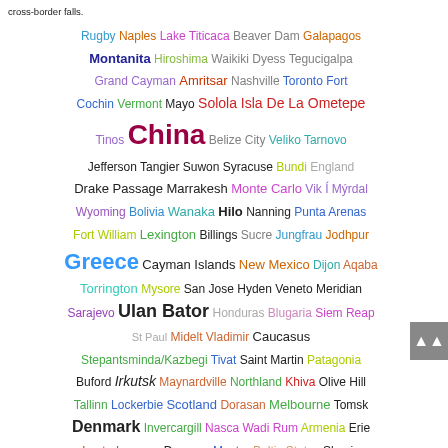cross-border falls.
[Figure (infographic): Word cloud of travel destinations with varying font sizes and colors. Largest word is 'China'. Other notable large words include 'Greece', 'Ulan Bator', 'Solola Isla De La Ometepe'. Words include: Rugby, Naples, Lake Titicaca, Beaver Dam, Galapagos, Montanita, Hiroshima, Waikiki, Dyess, Tegucigalpa, Grand Cayman, Amritsar, Nashville, Toronto Fort, Cochin, Vermont, Mayo, Solola Isla De La Ometepe, Tinos, China, Belize City, Veliko Tarnovo, Jefferson, Tangier, Suwon, Syracuse, Bundi, England, Drake Passage, Marrakesh, Monte Carlo, Vik I Myrdal, Wyoming, Bolivia, Wanaka, Hilo, Nanning, Punta Arenas, Fort William, Lexington, Billings, Sucre, Jungfrau, Jodhpur, Greece, Cayman Islands, New Mexico, Dijon, Aqaba, Torrington, Mysore, San Jose, Hyden, Veneto, Meridian, Sarajevo, Ulan Bator, Honduras, Blugaria, Siem Reap, St Paul, Midelt, Vladimir, Caucasus, Stepantsminda/Kazbegi, Tivat, Saint Martin, Patagonia, Buford, Irkutsk, Maynardville, Northland, Khiva, Olive Hill, Tallinn, Lockerbie, Scotland, Dorasan, Melbourne, Tomsk, Denmark, Invercargill, Nasca, Wadi Rum, Armenia, Erie, Lauterbrunnen, Durango, Mostar, Baltic States, Skopje]